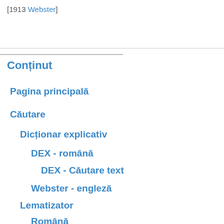[1913 Webster]
Conținut
Pagina principală
Căutare
Dicționar explicativ
DEX - română
DEX - Căutare text
Webster - engleză
Lematizator
Română